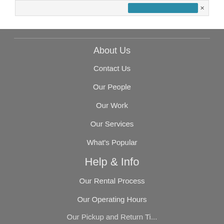[Figure (screenshot): Top bar with teal button on right side]
About Us
Contact Us
Our People
Our Work
Our Services
What's Popular
Help & Info
Our Rental Process
Our Operating Hours
Our Pickup and Return Tips